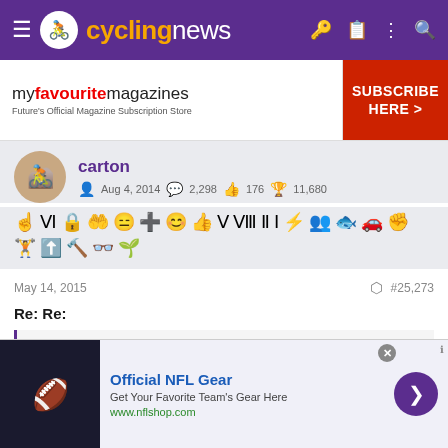cyclingnews
[Figure (screenshot): Advertisement banner for myfavouritemagazines - Future's Official Magazine Subscription Store with Subscribe Here button]
carton
Aug 4, 2014  2,298  176  11,680
[Figure (infographic): User badges/achievement icons row]
May 14, 2015
#25,273
Re: Re:
[Figure (screenshot): Advertisement for Official NFL Gear - Get Your Favorite Team's Gear Here - www.nflshop.com]